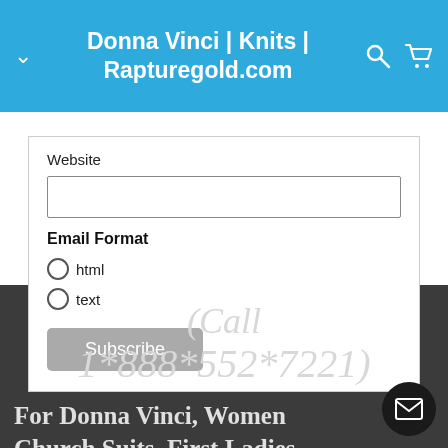Donna Vinci | Knits | Rapturegold.com
Website
Email Format
html
text
Subscribe
(Call 1*888*552*7221)
For Donna Vinci, Women Church Suits, First Ladies